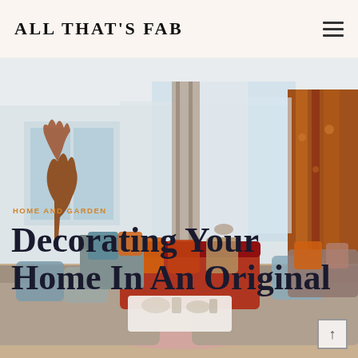ALL THAT'S FAB
[Figure (photo): Luxury living room interior with large sheer curtains, a red sofa with orange and blue pillows, grey sofa with blue pillow in foreground, a wooden sculpture on the left, patterned orange curtains on the right, a white coffee table with decorative items, and a pink area rug.]
HOME AND GARDEN
Decorating Your Home In An Original